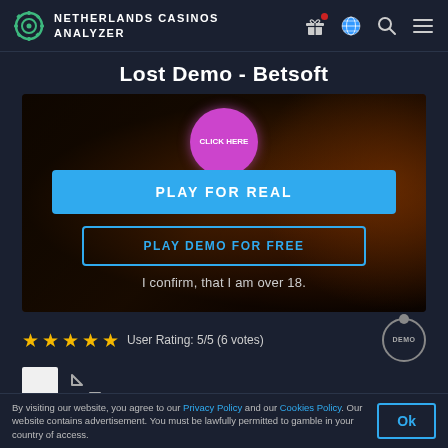NETHERLANDS CASINOS ANALYZER
Lost Demo - Betsoft
[Figure (screenshot): Game screenshot showing a dark horror-themed slot with PLAY FOR REAL and PLAY DEMO FOR FREE buttons, plus a pink circle button labeled 'Click Here' and text 'I confirm, that I am over 18.']
User Rating: 5/5 (6 votes)
Features
By visiting our website, you agree to our Privacy Policy and our Cookies Policy. Our website contains advertisement. You must be lawfully permitted to gamble in your country of access.